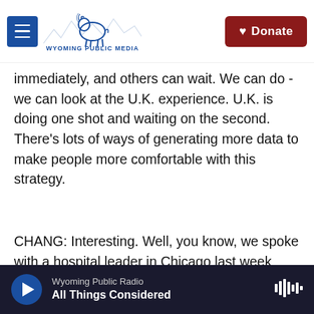[Figure (logo): Wyoming Public Media logo with bison and mountain skyline illustration, blue and white color scheme]
immediately, and others can wait. We can do - we can look at the U.K. experience. U.K. is doing one shot and waiting on the second. There's lots of ways of generating more data to make people more comfortable with this strategy.
CHANG: Interesting. Well, you know, we spoke with a hospital leader in Chicago last week who said many of her health care workers were hesitant to get the vaccine but that others who don't qualify right now for a vaccine want their shots now. Do you think that this tiered system that is giving health care workers and those in long term care
Wyoming Public Radio
All Things Considered